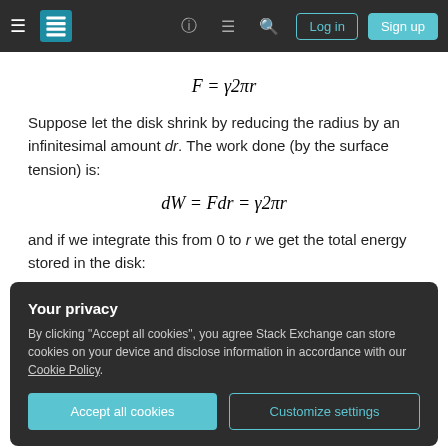[Figure (screenshot): Stack Exchange navigation bar with hamburger menu, logo, help icon, chat icon, search icon, Log in and Sign up buttons]
Suppose let the disk shrink by reducing the radius by an infinitesimal amount dr. The work done (by the surface tension) is:
and if we integrate this from 0 to r we get the total energy stored in the disk:
Your privacy
By clicking "Accept all cookies", you agree Stack Exchange can store cookies on your device and disclose information in accordance with our Cookie Policy.
surface energy: